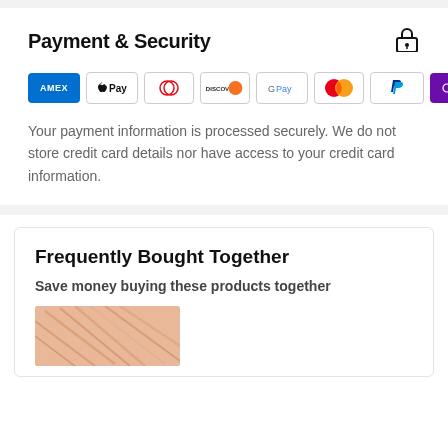Payment & Security
[Figure (infographic): Payment method icons: Amex, Apple Pay, Diners Club, Discover, Google Pay, Mastercard, PayPal, O Pay, Visa]
Your payment information is processed securely. We do not store credit card details nor have access to your credit card information.
Frequently Bought Together
Save money buying these products together
[Figure (photo): Product image showing pink/rose-toned items, partially visible at bottom of page]